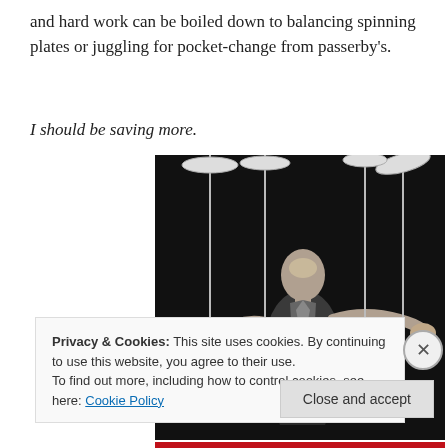and hard work can be boiled down to balancing spinning plates or juggling for pocket-change from passerby's.
I should be saving more.
[Figure (photo): Black and white photograph of a man in a suit spinning multiple plates on poles, arms outstretched.]
Privacy & Cookies: This site uses cookies. By continuing to use this website, you agree to their use.
To find out more, including how to control cookies, see here: Cookie Policy